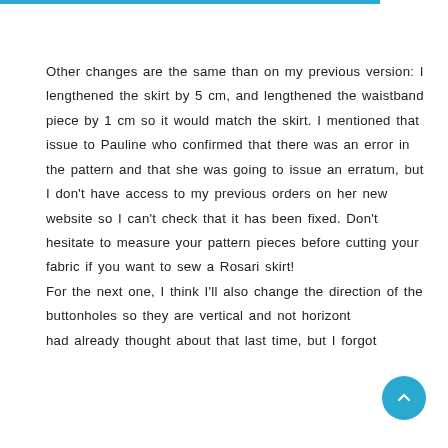Other changes are the same than on my previous version: I lengthened the skirt by 5 cm, and lengthened the waistband piece by 1 cm so it would match the skirt. I mentioned that issue to Pauline who confirmed that there was an error in the pattern and that she was going to issue an erratum, but I don't have access to my previous orders on her new website so I can't check that it has been fixed. Don't hesitate to measure your pattern pieces before cutting your fabric if you want to sew a Rosari skirt!
For the next one, I think I'll also change the direction of the buttonholes so they are vertical and not horizontal. I had already thought about that last time, but I forgot and...